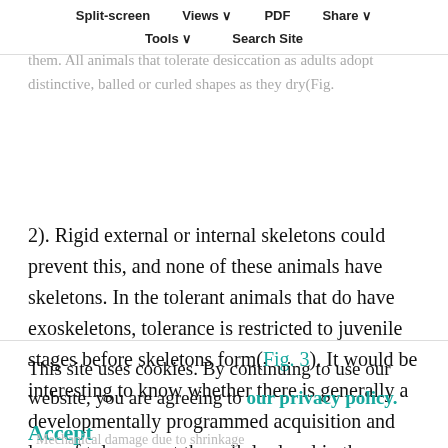physical stresses associated with drying (Table 2). Animal cells shrink as they dry, and whole animals shrink as they dry, and whole animals do, too, and carry ink with them. All animals that tolerate desiccation as adults adopt distinctive, balled or curled shapes as they dry(Fig. 2).
Split-screen  Views  PDF  Share  Tools  Search Site
2). Rigid external or internal skeletons could prevent this, and none of these animals have skeletons. In the tolerant animals that do have exoskeletons, tolerance is restricted to juvenile stages before skeletons form(Fig. 3). It would be interesting to know whether there is generally a developmentally programmed acquisition and loss of tolerance at the cellular level in these animals, as there is in most seeds, or whether individual cells remain tolerant in some adult animals.
This site uses cookies. By continuing to use our website, you are agreeing to our privacy policy.
Accept
Mechanical damage due to shrinkage